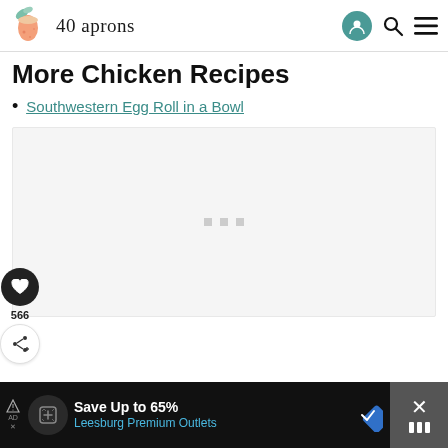40 aprons
More Chicken Recipes
Southwestern Egg Roll in a Bowl
[Figure (photo): Light grey placeholder image area with three small grey dots centered, representing a loading or empty image card]
[Figure (infographic): Advertisement bar at bottom: Save Up to 65% Leesburg Premium Outlets]